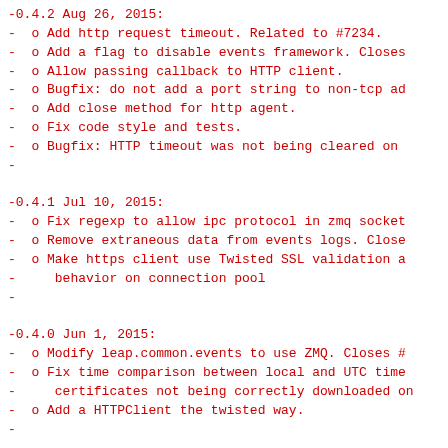-0.4.2 Aug 26, 2015:
-  o Add http request timeout. Related to #7234.
-  o Add a flag to disable events framework. Closes
-  o Allow passing callback to HTTP client.
-  o Bugfix: do not add a port string to non-tcp ad
-  o Add close method for http agent.
-  o Fix code style and tests.
-  o Bugfix: HTTP timeout was not being cleared on
-
-0.4.1 Jul 10, 2015:
-  o Fix regexp to allow ipc protocol in zmq socket
-  o Remove extraneous data from events logs. Close
-  o Make https client use Twisted SSL validation a
-     behavior on connection pool
-
-0.4.0 Jun 1, 2015:
-  o Modify leap.common.events to use ZMQ. Closes #
-  o Fix time comparison between local and UTC time
-     certificates not being correctly downloaded on
-  o Add a HTTPClient the twisted way.
-
-0.3.10 Jan 26, 2015:
-  o Consider different possibilities for tmpdir. R
-  o Add support for deferreds to memoize_method de
-  o Extract the environment set up and tear down f
-
-0.3.9 Jul 18, 2014:
-  o Include pemfile in the package data. Closes #5
-  o Look for bundled cacert.pem in the Resources d